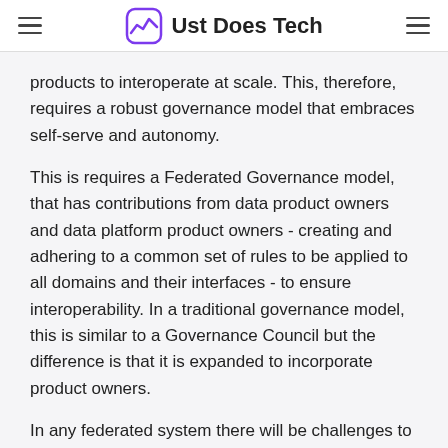Ust Does Tech
products to interoperate at scale. This, therefore, requires a robust governance model that embraces self-serve and autonomy.
This is requires a Federated Governance model, that has contributions from data product owners and data platform product owners - creating and adhering to a common set of rules to be applied to all domains and their interfaces - to ensure interoperability. In a traditional governance model, this is similar to a Governance Council but the difference is that it is expanded to incorporate product owners.
In any federated system there will be challenges to maintain balance between what needs to be agreed globally and what the individual produ… have autonomy over. Ultimately, global concerns should be centered